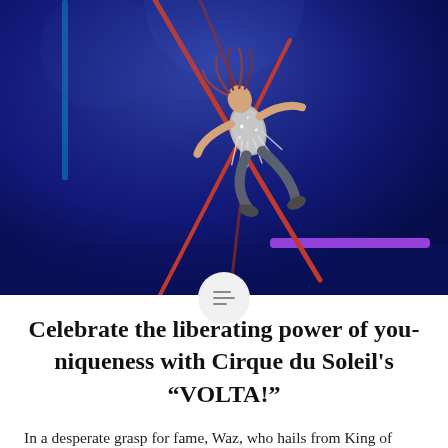[Figure (photo): Aerial acrobat performer suspended on red ropes against a deep blue stage backdrop with dramatic lighting. The performer wears a sparkling silver costume with fringe details and is posed dynamically mid-air.]
Celebrate the liberating power of you-niqueness with Cirque du Soleil's "VOLTA!"
In a desperate grasp for fame, Waz, who hails from King of Prussia, Pennsylvania, competes on the Mr. Wow Show. The